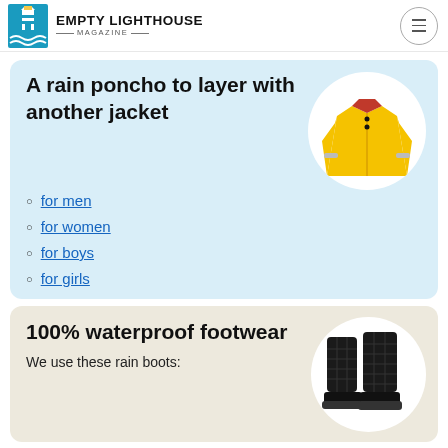Empty Lighthouse Magazine
A rain poncho to layer with another jacket
for men
for women
for boys
for girls
[Figure (photo): Yellow children's rain jacket/poncho]
100% waterproof footwear
We use these rain boots:
[Figure (photo): Black quilted rain boots]